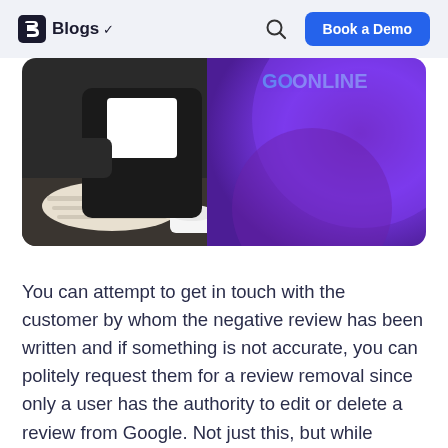Blogs  Book a Demo
[Figure (photo): Person in black jacket writing or reading at a desk with an open book and coffee cup; purple gradient geometric background on the right side of the hero image]
You can attempt to get in touch with the customer by whom the negative review has been written and if something is not accurate, you can politely request them for a review removal since only a user has the authority to edit or delete a review from Google. Not just this, but while engaging in a